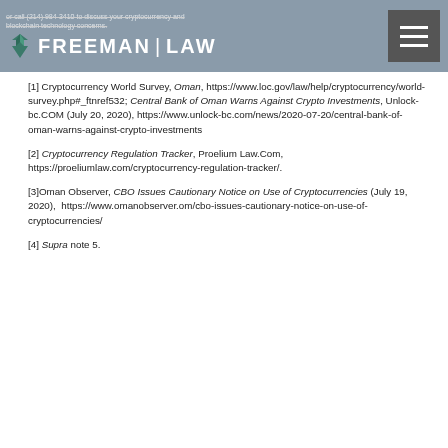or call (214) 984-3410 to discuss your cryptocurrency and blockchain technology concerns. FREEMAN LAW
[1] Cryptocurrency World Survey, Oman, https://www.loc.gov/law/help/cryptocurrency/world-survey.php#_ftnref532; Central Bank of Oman Warns Against Crypto Investments, Unlock-bc.COM (July 20, 2020), https://www.unlock-bc.com/news/2020-07-20/central-bank-of-oman-warns-against-crypto-investments
[2] Cryptocurrency Regulation Tracker, Proelium Law.Com, https://proeliumlaw.com/cryptocurrency-regulation-tracker/.
[3]Oman Observer, CBO Issues Cautionary Notice on Use of Cryptocurrencies (July 19, 2020), https://www.omanobserver.om/cbo-issues-cautionary-notice-on-use-of-cryptocurrencies/
[4] Supra note 5.